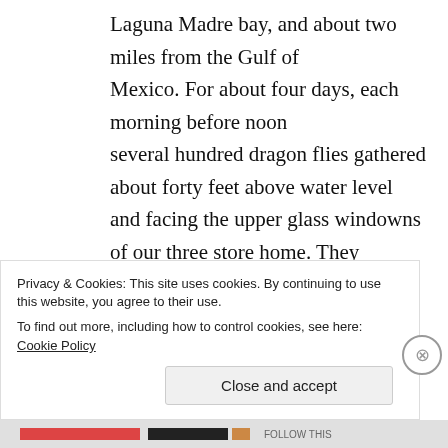Laguna Madre bay, and about two miles from the Gulf of Mexico. For about four days, each morning before noon several hundred dragon flies gathered about forty feet above water level and facing the upper glass windowns of our three store home. They disappeared in the afternoon, did not gather in front of the homes on either side –without the glass windows such as we have, and did not return today. They could have been migrating,
Privacy & Cookies: This site uses cookies. By continuing to use this website, you agree to their use. To find out more, including how to control cookies, see here: Cookie Policy
Close and accept